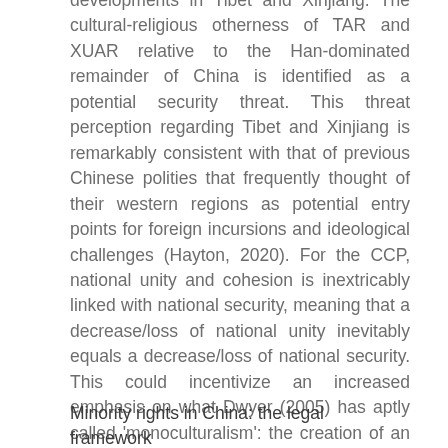developments in Tibet and Xinjiang. The cultural-religious otherness of TAR and XUAR relative to the Han-dominated remainder of China is identified as a potential security threat. This threat perception regarding Tibet and Xinjiang is remarkably consistent with that of previous Chinese polities that frequently thought of their western regions as potential entry points for foreign incursions and ideological challenges (Hayton, 2020). For the CCP, national unity and cohesion is inextricably linked with national security, meaning that a decrease/loss of national unity inevitably equals a decrease/loss of national security. This could incentivize an increased emphasis on what Dwyer (2005) has aptly called 'monoculturalism': the creation of an assimilationist, Han-dominated culture that comes at the expense of minority cultures.
Minority rights in China: the legal framework